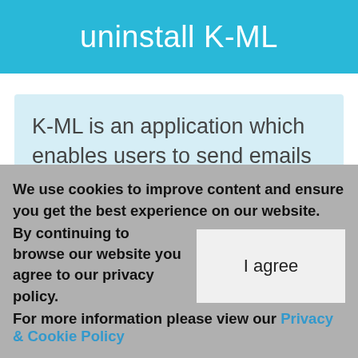uninstall K-ML
K-ML is an application which enables users to send emails to multiple recipients, such as newsletters. Its basic configuration makes the app easy to work with, even for less experienced users.
We use cookies to improve content and ensure you get the best experience on our website. By continuing to browse our website you agree to our privacy policy. For more information please view our Privacy & Cookie Policy
I agree